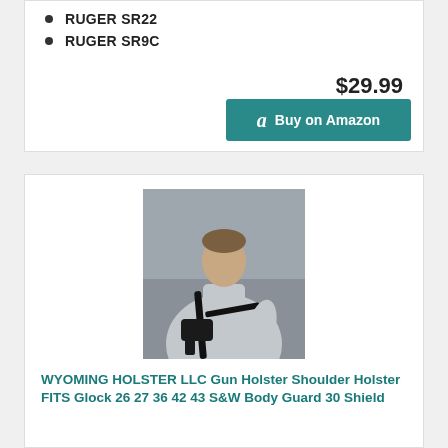RUGER SR22
RUGER SR9C
$29.99
Buy on Amazon
[Figure (photo): Man wearing a shoulder holster with a gun, dressed in a grey polo shirt, photographed against a grey background]
WYOMING HOLSTER LLC Gun Holster Shoulder Holster FITS Glock 26 27 36 42 43 S&W Body Guard 30 Shield